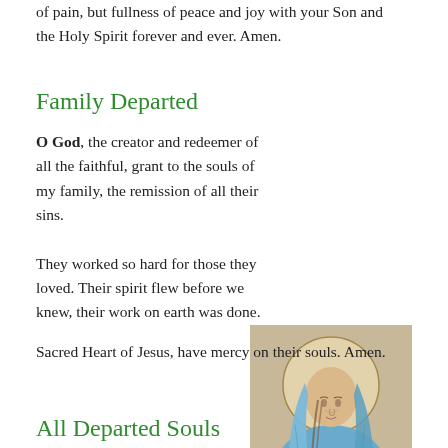of pain, but fullness of peace and joy with your Son and the Holy Spirit forever and ever. Amen.
Family Departed
O God, the creator and redeemer of all the faithful, grant to the souls of my family, the remission of all their sins.
[Figure (illustration): Illustration of the Virgin Mary in blue robes with hands clasped in prayer, with a halo behind her head, looking downward in contemplation.]
They worked so hard for those they loved. Their spirit flew before we knew, their work on earth was done. Sacred Heart of Jesus, have mercy on their souls. Amen.
All Departed Souls